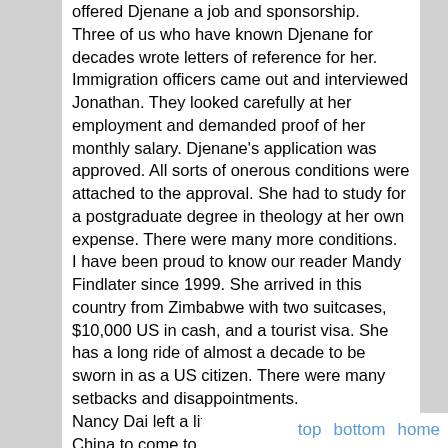offered Djenane a job and sponsorship.
Three of us who have known Djenane for decades wrote letters of reference for her. Immigration officers came out and interviewed Jonathan. They looked carefully at her employment and demanded proof of her monthly salary. Djenane's application was approved. All sorts of onerous conditions were attached to the approval. She had to study for a postgraduate degree in theology at her own expense. There were many more conditions.
I have been proud to know our reader Mandy Findlater since 1999. She arrived in this country from Zimbabwe with two suitcases, $10,000 US in cash, and a tourist visa. She has a long ride of almost a decade to be sworn in as a US citizen. There were many setbacks and disappointments.
Nancy Dai left a life of comfort in Shanghai, China to come to California to be with her mother. She had to start over from scratch. She had to get new college degrees and live through years of humble economic circumstances, She had to endure the ride through the immigration bureaucracy. Nancy has emerged at the other end with a home of her own and a job as a software engineer.
We constantly hear complaints about this cou... We need to step back and look at the hard sacrifices th...
top   bottom   home